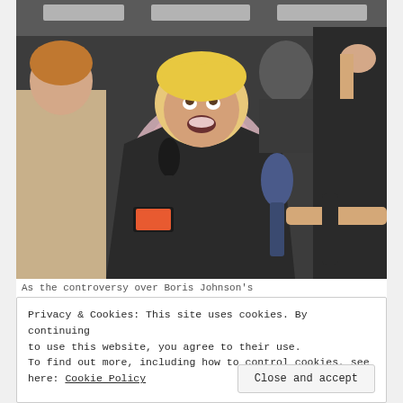[Figure (photo): A man with blond hair in a dark suit and light blue tie, mouth open and looking upward, surrounded by journalists holding microphones and recording devices. Indoor setting with industrial-style ceiling lighting.]
As the controversy over Boris Johnson's
Privacy & Cookies: This site uses cookies. By continuing to use this website, you agree to their use.
To find out more, including how to control cookies, see here: Cookie Policy
Close and accept